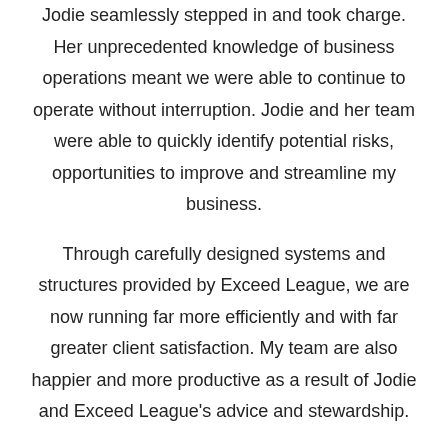Jodie seamlessly stepped in and took charge. Her unprecedented knowledge of business operations meant we were able to continue to operate without interruption. Jodie and her team were able to quickly identify potential risks, opportunities to improve and streamline my business.
Through carefully designed systems and structures provided by Exceed League, we are now running far more efficiently and with far greater client satisfaction. My team are also happier and more productive as a result of Jodie and Exceed League's advice and stewardship.
Anyone looking to move their business to the next level, implement change or just looking for great advice would